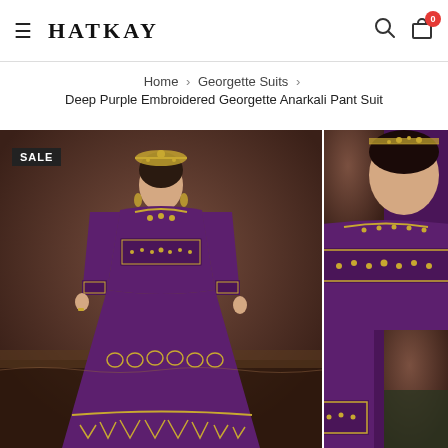HATKAY — navigation header with hamburger menu, search icon, cart (0)
Home › Georgette Suits › Deep Purple Embroidered Georgette Anarkali Pant Suit
[Figure (photo): A woman wearing a deep purple embroidered georgette Anarkali pant suit with gold embroidery details, long sleeves, and ornate jewelry, posed against a brown backdrop. A SALE badge appears in the top-left corner. Next to it is a close-up photo of the same outfit showing sleeve and bodice embroidery detail.]